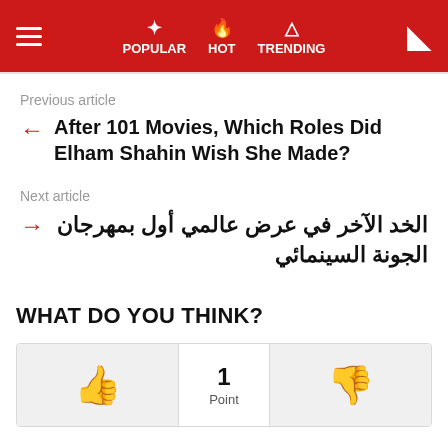POPULAR HOT TRENDING
Previous article
After 101 Movies, Which Roles Did Elham Shahin Wish She Made?
Next article
الخد الآخر في عرض عالمي أول بمهرجان الجونة السينمائي
WHAT DO YOU THINK?
1 Point